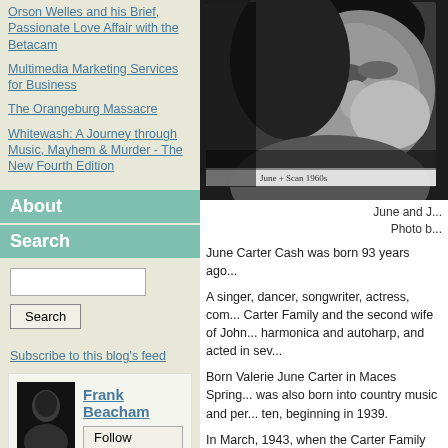Orson Welles and his Brief, Passionate Love Affair with the Betacam
Multimedia Marketing Services for Business
The Orangeburg Massacre
Whitewash: A Journey through Music, Mayhem & Murder - The New Fourth Edition
About
Search
Subscribe to this blog's feed
[Figure (photo): Black and white close-up photograph of June Carter Cash and Johnny Cash]
June and J...
Photo b...
June Carter Cash was born 93 years ago...
A singer, dancer, songwriter, actress, com... Carter Family and the second wife of John... harmonica and autoharp, and acted in sev...
Born Valerie June Carter in Maces Spring... was also born into country music and per... ten, beginning in 1939.
In March, 1943, when the Carter Family tr... WBT contract, Maybelle Carter, with enco... "Mother Maybelle & the Carter Sisters" wi...